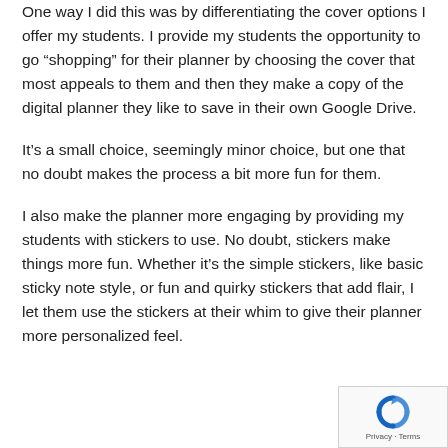One way I did this was by differentiating the cover options I offer my students. I provide my students the opportunity to go “shopping” for their planner by choosing the cover that most appeals to them and then they make a copy of the digital planner they like to save in their own Google Drive.
It’s a small choice, seemingly minor choice, but one that no doubt makes the process a bit more fun for them.
I also make the planner more engaging by providing my students with stickers to use. No doubt, stickers make things more fun. Whether it’s the simple stickers, like basic sticky note style, or fun and quirky stickers that add flair, I let them use the stickers at their whim to give their planner more personalized feel.
[Figure (logo): Google reCAPTCHA badge with spinning arrows logo and Privacy - Terms text]